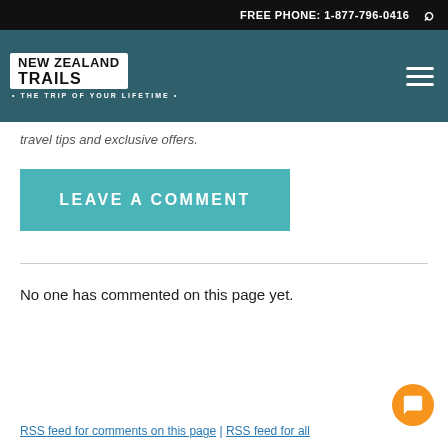FREE PHONE: 1-877-796-0416
[Figure (logo): New Zealand Trails logo with tagline 'THE TRIP OF YOUR LIFETIME']
travel tips and exclusive offers.
LEAVE A COMMENT
No one has commented on this page yet.
RSS feed for comments on this page | RSS feed for all